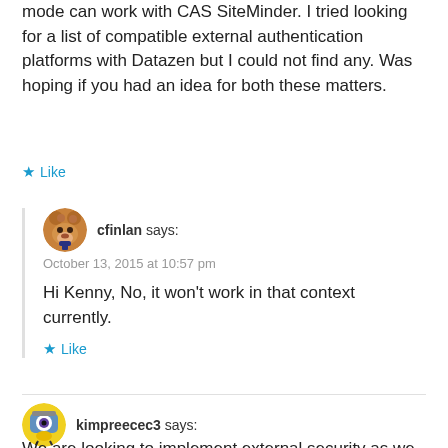mode can work with CAS SiteMinder. I tried looking for a list of compatible external authentication platforms with Datazen but I could not find any. Was hoping if you had an idea for both these matters.
Like
cfinlan says:
October 13, 2015 at 10:57 pm
Hi Kenny, No, it won't work in that context currently.
Like
kimpreecec3 says:
November 30, 2015 at 10:18 pm
We are looking to implement external security as we